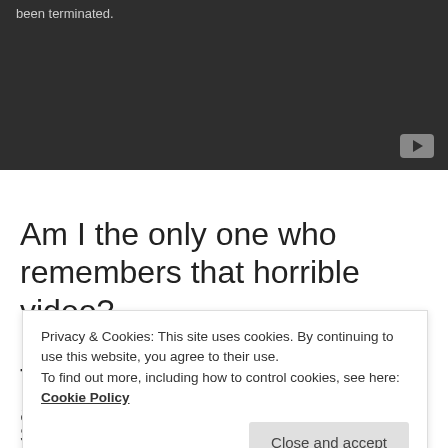[Figure (screenshot): Dark video player area with text 'been terminated.' and a YouTube play button icon in the bottom right corner]
Am I the only one who remembers that horrible video?
Then in my junior year we anticipated this new
Privacy & Cookies: This site uses cookies. By continuing to use this website, you agree to their use. To find out more, including how to control cookies, see here: Cookie Policy
supposed to be a "real world" perspective from our